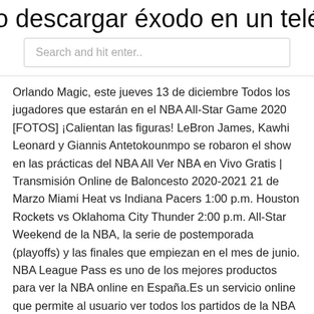o descargar éxodo en un teléfono an
Search and hit enter..
Orlando Magic, este jueves 13 de diciembre Todos los jugadores que estarán en el NBA All-Star Game 2020 [FOTOS] ¡Calientan las figuras! LeBron James, Kawhi Leonard y Giannis Antetokounmpo se robaron el show en las prácticas del NBA All Ver NBA en Vivo Gratis | Transmisión Online de Baloncesto 2020-2021 21 de Marzo Miami Heat vs Indiana Pacers 1:00 p.m. Houston Rockets vs Oklahoma City Thunder 2:00 p.m. All-Star Weekend de la NBA, la serie de postemporada (playoffs) y las finales que empiezan en el mes de junio. NBA League Pass es uno de los mejores productos para ver la NBA online en España.Es un servicio online que permite al usuario ver todos los partidos de la NBA online en directo, y también en diferido, incluyendo la final de la NBA y el All-Star.. Características en las emisiones de NBA League Pass.
HueMx